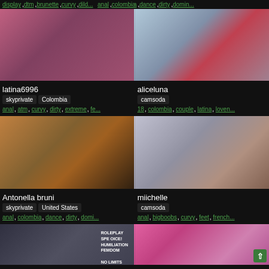display, dtm, brunette, curvy, dildi... | anal, colombia, dance, dirty, domin...
[Figure (photo): Profile photo of latina6996]
latina6996
skyprivate  Colombia
anal, atm, curvy, dirty, extreme, fe...
[Figure (photo): Profile photo of aliceluna]
aliceluna
camsoda
18, colombia, couple, latina, loven...
[Figure (photo): Profile photo of Antonella bruni]
Antonella bruni
skyprivate  United States
anal, colombia, dance, dirty, domi...
[Figure (photo): Profile photo of miichelle]
miichelle
camsoda
anal, bigboobs, curvy, feet, french...
[Figure (photo): Bottom left profile card with roleplay text overlay: ROLEPLAY, SPLEOCE!, HUMILIATION, FEMDOM, NO LIMITS]
[Figure (photo): Bottom right profile card with pink background]